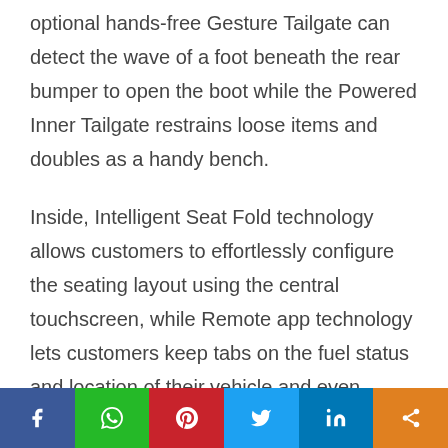optional hands-free Gesture Tailgate can detect the wave of a foot beneath the rear bumper to open the boot while the Powered Inner Tailgate restrains loose items and doubles as a handy bench.
Inside, Intelligent Seat Fold technology allows customers to effortlessly configure the seating layout using the central touchscreen, while Remote app technology lets customers keep tabs on the fuel status and location of their vehicle and even unlock and lock the doors.
[Figure (infographic): Social media share bar with icons for Facebook, WhatsApp, Pinterest, Twitter, LinkedIn, and a generic share button]